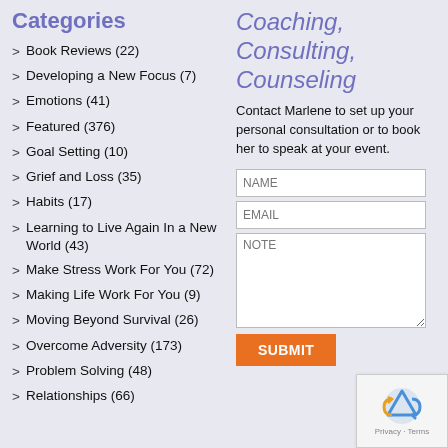Categories
> Book Reviews (22)
> Developing a New Focus (7)
> Emotions (41)
> Featured (376)
> Goal Setting (10)
> Grief and Loss (35)
> Habits (17)
> Learning to Live Again In a New World (43)
> Make Stress Work For You (72)
> Making Life Work For You (9)
> Moving Beyond Survival (26)
> Overcome Adversity (173)
> Problem Solving (48)
> Relationships (66)
Coaching, Consulting, Counseling
Contact Marlene to set up your personal consultation or to book her to speak at your event.